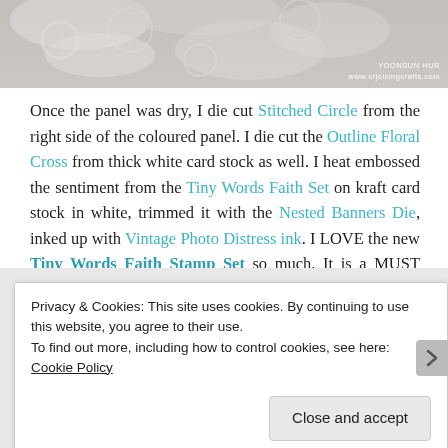[Figure (photo): Cropped photo of white crochet lace doily on gray wooden background with watermark 'YOONSUN HUR www.crjoicingcrafts.com' in lower right]
Once the panel was dry, I die cut Stitched Circle from the right side of the coloured panel. I die cut the Outline Floral Cross from thick white card stock as well. I heat embossed the sentiment from the Tiny Words Faith Set on kraft card stock in white, trimmed it with the Nested Banners Die, inked up with Vintage Photo Distress ink. I LOVE the new Tiny Words Faith Stamp Set so much. It is a MUST HAVE!!
Privacy & Cookies: This site uses cookies. By continuing to use this website, you agree to their use.
To find out more, including how to control cookies, see here: Cookie Policy
Close and accept